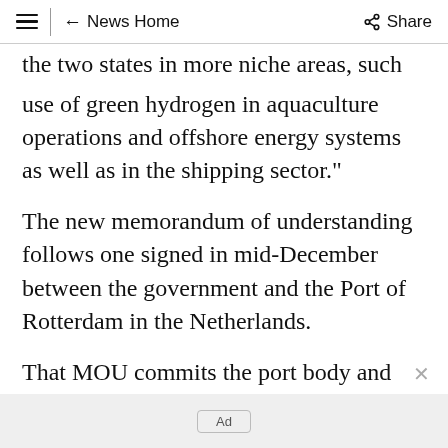≡  ← News Home  Share
the two states in more niche areas, such as the use of green hydrogen in aquaculture operations and offshore energy systems as well as in the shipping sector."
The new memorandum of understanding follows one signed in mid-December between the government and the Port of Rotterdam in the Netherlands.
That MOU commits the port body and the state government to work together to investigate
Ad